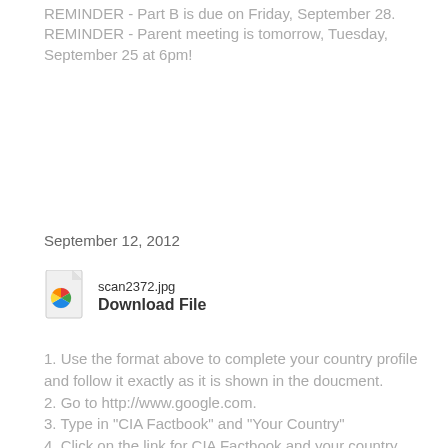REMINDER - Part B is due on Friday, September 28.
REMINDER - Parent meeting is tomorrow, Tuesday, September 25 at 6pm!
September 12, 2012
[Figure (other): File icon for scan2372.jpg with Download File link]
1. Use the format above to complete your country profile and follow it exactly as it is shown in the doucment.
2. Go to http://www.google.com.
3. Type in "CIA Factbook" and "Your Country"
4. Click on the link for CIA Factbook and your country.
5. Transfer the information from the CIA Factbook to the format.